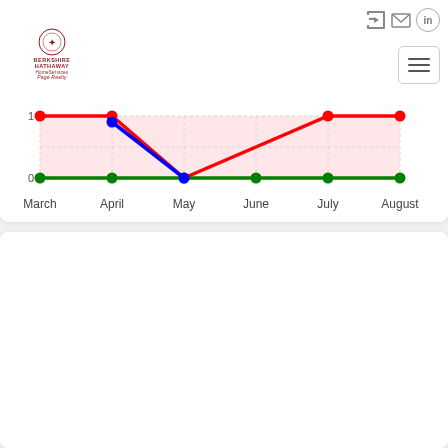[Figure (logo): Berkshire Hathaway HomeServices Page Realty logo with circular emblem]
[Figure (line-chart): Multi-line chart showing three series. Green line is flat at 0 across all months. Red line starts at 1 (March), dips sharply to near 0 (May), then returns to 1 (July–August). Blue line starts at ~0.9 (April), drops to 0 (May). Y-axis labeled 0 and 1.]